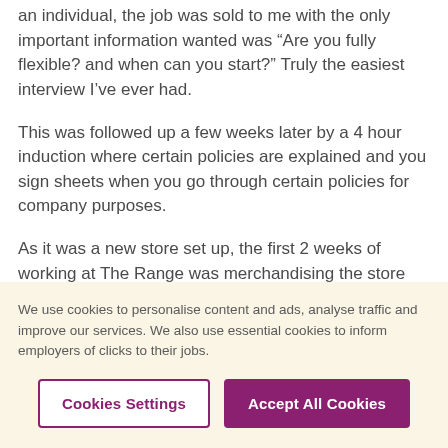an individual, the job was sold to me with the only important information wanted was “Are you fully flexible? and when can you start?” Truly the easiest interview I’ve ever had.
This was followed up a few weeks later by a 4 hour induction where certain policies are explained and you sign sheets when you go through certain policies for company purposes.
As it was a new store set up, the first 2 weeks of working at The Range was merchandising the store thoroughly for each department. This was a
We use cookies to personalise content and ads, analyse traffic and improve our services. We also use essential cookies to inform employers of clicks to their jobs.